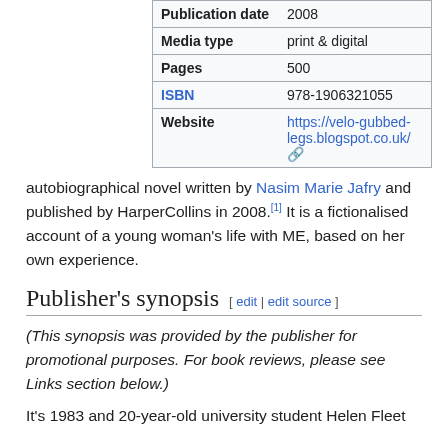| Field | Value |
| --- | --- |
| Publication date | 2008 |
| Media type | print & digital |
| Pages | 500 |
| ISBN | 978-1906321055 |
| Website | https://velo-gubbed-legs.blogspot.co.uk/ |
autobiographical novel written by Nasim Marie Jafry and published by HarperCollins in 2008.[1] It is a fictionalised account of a young woman's life with ME, based on her own experience.
Publisher's synopsis
(This synopsis was provided by the publisher for promotional purposes. For book reviews, please see Links section below.)
It's 1983 and 20-year-old university student Helen Fleet